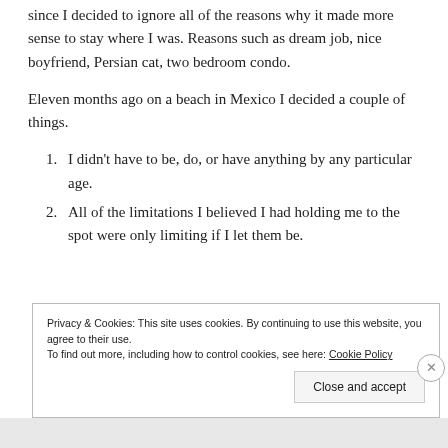since I decided to ignore all of the reasons why it made more sense to stay where I was. Reasons such as dream job, nice boyfriend, Persian cat, two bedroom condo.
Eleven months ago on a beach in Mexico I decided a couple of things.
1. I didn't have to be, do, or have anything by any particular age.
2. All of the limitations I believed I had holding me to the spot were only limiting if I let them be.
Privacy & Cookies: This site uses cookies. By continuing to use this website, you agree to their use.
To find out more, including how to control cookies, see here: Cookie Policy